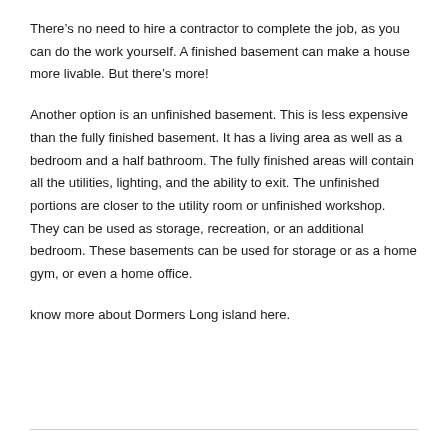There’s no need to hire a contractor to complete the job, as you can do the work yourself. A finished basement can make a house more livable. But there’s more!
Another option is an unfinished basement. This is less expensive than the fully finished basement. It has a living area as well as a bedroom and a half bathroom. The fully finished areas will contain all the utilities, lighting, and the ability to exit. The unfinished portions are closer to the utility room or unfinished workshop. They can be used as storage, recreation, or an additional bedroom. These basements can be used for storage or as a home gym, or even a home office.
know more about Dormers Long island here.